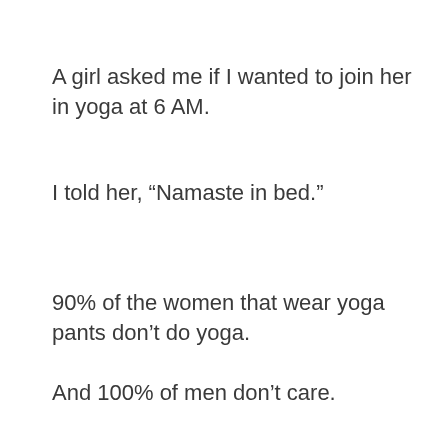A girl asked me if I wanted to join her in yoga at 6 AM.
I told her, “Namaste in bed.”
90% of the women that wear yoga pants don’t do yoga.
And 100% of men don’t care.